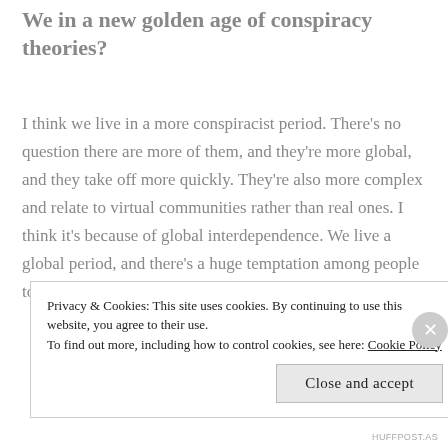We in a new golden age of conspiracy theories?
I think we live in a more conspiracist period. There's no question there are more of them, and they're more global, and they take off more quickly. They're also more complex and relate to virtual communities rather than real ones. I think it's because of global interdependence. We live a global period, and there's a huge temptation among people to believe there is a master plan, because
Privacy & Cookies: This site uses cookies. By continuing to use this website, you agree to their use.
To find out more, including how to control cookies, see here: Cookie Policy
Close and accept
HUFFPOST.AS